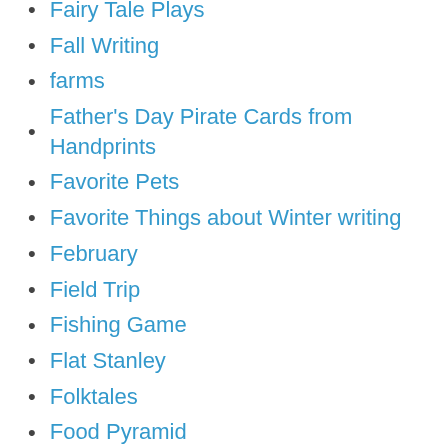Fairy Tale Plays
Fall Writing
farms
Father's Day Pirate Cards from Handprints
Favorite Pets
Favorite Things about Winter writing
February
Field Trip
Fishing Game
Flat Stanley
Folktales
Food Pyramid
Football
Football Player Art
Football Subway Art
Footprint Penguins